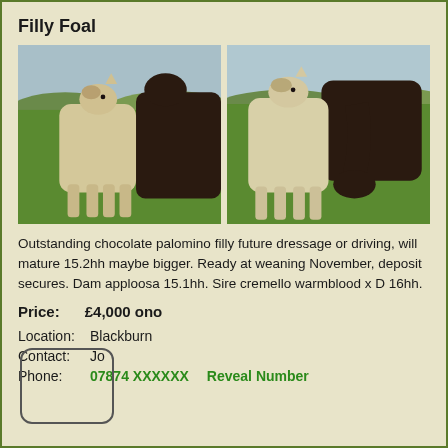Filly Foal
[Figure (photo): Two photos of a pale/cream filly foal standing in a green field. Left photo shows the foal facing forward with a dark horse behind. Right photo shows the foal beside a dark horse that is grazing.]
Outstanding chocolate palomino filly future dressage or driving, will mature 15.2hh maybe bigger. Ready at weaning November, deposit secures. Dam apploosa 15.1hh. Sire cremello warmblood x D 16hh.
Price:      £4,000 ono
Location:  Blackburn
Contact:  Jo
Phone:   07874 XXXXXX    Reveal Number